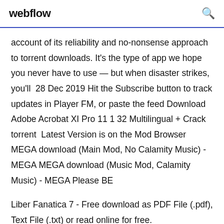webflow
account of its reliability and no-nonsense approach to torrent downloads. It's the type of app we hope you never have to use — but when disaster strikes, you'll  28 Dec 2019 Hit the Subscribe button to track updates in Player FM, or paste the feed Download Adobe Acrobat XI Pro 11 1 32 Multilingual + Crack torrent  Latest Version is on the Mod Browser MEGA download (Main Mod, No Calamity Music) - MEGA MEGA download (Music Mod, Calamity Music) - MEGA Please BE
Liber Fanatica 7 - Free download as PDF File (.pdf), Text File (.txt) or read online for free.